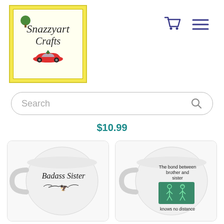[Figure (logo): Snazzyart Crafts logo with yellow background, script text, green bush, and red vintage car]
[Figure (illustration): Shopping cart icon and hamburger menu icon in dark blue/purple]
Search
$10.99
[Figure (photo): White coffee mug with 'Badass Sister' script text and winged emblem]
[Figure (photo): White coffee mug reading 'The bond between brother and sister knows no distance' with stick figure illustration on green background]